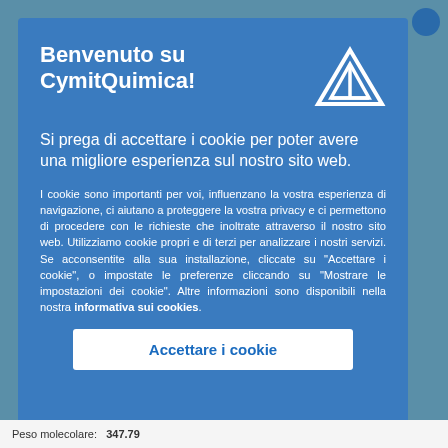Benvenuto su CymitQuimica!
Si prega di accettare i cookie per poter avere una migliore esperienza sul nostro sito web.
I cookie sono importanti per voi, influenzano la vostra esperienza di navigazione, ci aiutano a proteggere la vostra privacy e ci permettono di procedere con le richieste che inoltrate attraverso il nostro sito web. Utilizziamo cookie propri e di terzi per analizzare i nostri servizi. Se acconsentite alla sua installazione, cliccate su "Accettare i cookie", o impostate le preferenze cliccando su "Mostrare le impostazioni dei cookie". Altre informazioni sono disponibili nella nostra informativa sui cookies.
Accettare i cookie
Peso molecolare:   347.79